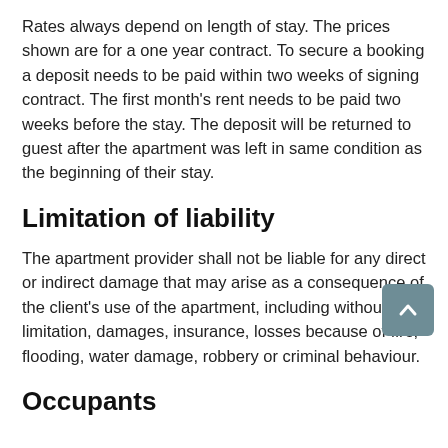Rates always depend on length of stay. The prices shown are for a one year contract. To secure a booking a deposit needs to be paid within two weeks of signing contract. The first month's rent needs to be paid two weeks before the stay. The deposit will be returned to guest after the apartment was left in same condition as the beginning of their stay.
Limitation of liability
The apartment provider shall not be liable for any direct or indirect damage that may arise as a consequence of the client's use of the apartment, including without limitation, damages, insurance, losses because of fire, flooding, water damage, robbery or criminal behaviour.
Occupants